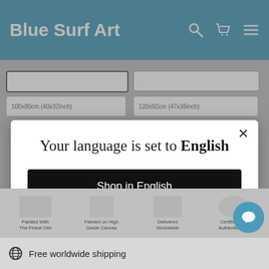Blue Surf Art
Your language is set to English
Shop in English
Change language
Painted With The Finest Oils
Painted on High Grade Canvas
Delivered Worldwide
Certificate of Authentication
Free worldwide shipping